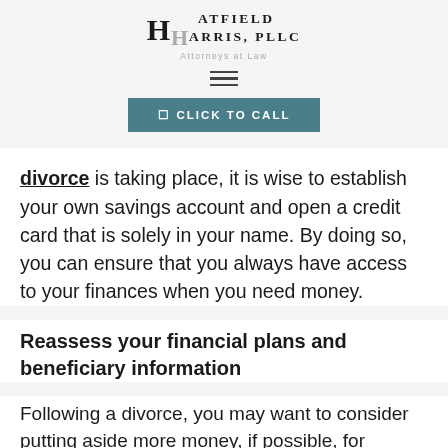Hatfield Harris, PLLC — Attorneys at Law
divorce is taking place, it is wise to establish your own savings account and open a credit card that is solely in your name. By doing so, you can ensure that you always have access to your finances when you need money.
Reassess your financial plans and beneficiary information
Following a divorce, you may want to consider putting aside more money, if possible, for retirement. By saving more in the years following your divorce, you